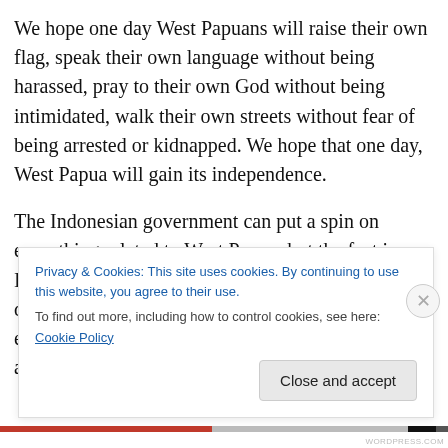We hope one day West Papuans will raise their own flag, speak their own language without being harassed, pray to their own God without being intimidated, walk their own streets without fear of being arrested or kidnapped. We hope that one day, West Papua will gain its independence.
The Indonesian government can put a spin on everything related to West Papua, but the fact is, Indonesia has no business in West Papua! They don't share the same culture, language, and ethnicity. West Papuan people were forced to learn and live as Indonesians for decades!
Privacy & Cookies: This site uses cookies. By continuing to use this website, you agree to their use.
To find out more, including how to control cookies, see here: Cookie Policy
Close and accept